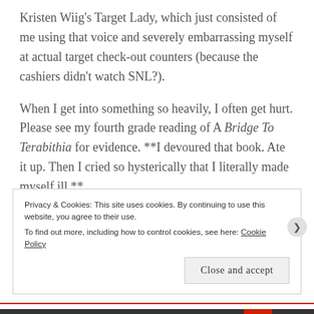Kristen Wiig's Target Lady, which just consisted of me using that voice and severely embarrassing myself at actual target check-out counters (because the cashiers didn't watch SNL?).
When I get into something so heavily, I often get hurt. Please see my fourth grade reading of A Bridge To Terabithia for evidence. **I devoured that book. Ate it up. Then I cried so hysterically that I literally made myself ill.**
Privacy & Cookies: This site uses cookies. By continuing to use this website, you agree to their use.
To find out more, including how to control cookies, see here: Cookie Policy
Close and accept